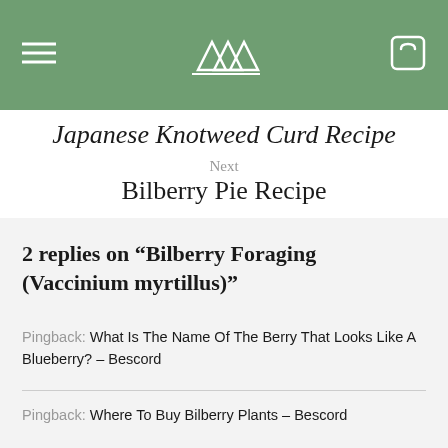△△△
Japanese Knotweed Curd Recipe
Next
Bilberry Pie Recipe
2 replies on “Bilberry Foraging (Vaccinium myrtillus)”
Pingback: What Is The Name Of The Berry That Looks Like A Blueberry? – Bescord
Pingback: Where To Buy Bilberry Plants – Bescord